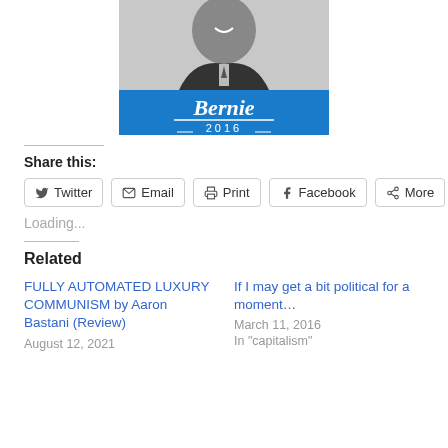[Figure (photo): Bernie Sanders 2016 campaign image: black and white photo of a smiling man in a suit above a blue banner reading 'Bernie 2016']
Share this:
Twitter | Email | Print | Facebook | More
Loading...
Related
FULLY AUTOMATED LUXURY COMMUNISM by Aaron Bastani (Review)
August 12, 2021
If I may get a bit political for a moment…
March 11, 2016
In "capitalism"